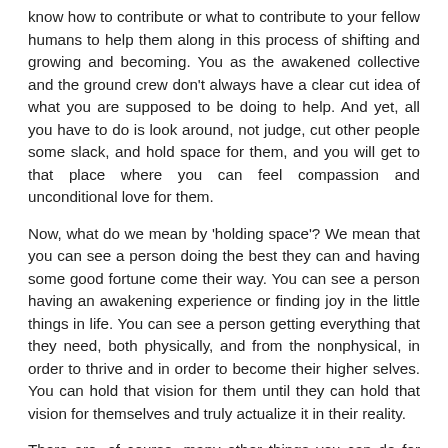know how to contribute or what to contribute to your fellow humans to help them along in this process of shifting and growing and becoming. You as the awakened collective and the ground crew don't always have a clear cut idea of what you are supposed to be doing to help. And yet, all you have to do is look around, not judge, cut other people some slack, and hold space for them, and you will get to that place where you can feel compassion and unconditional love for them.
Now, what do we mean by 'holding space'? We mean that you can see a person doing the best they can and having some good fortune come their way. You can see a person having an awakening experience or finding joy in the little things in life. You can see a person getting everything that they need, both physically, and from the nonphysical, in order to thrive and in order to become their higher selves. You can hold that vision for them until they can hold that vision for themselves and truly actualize it in their reality.
There are, of course, many other things you can do for your fellow humans when you are presented with those opportunities, or when you are inspired, to help them in some way. And we know that because you are receiving this message right now, you are ready to play that role. We know that and we know thatfortitude for that role is something